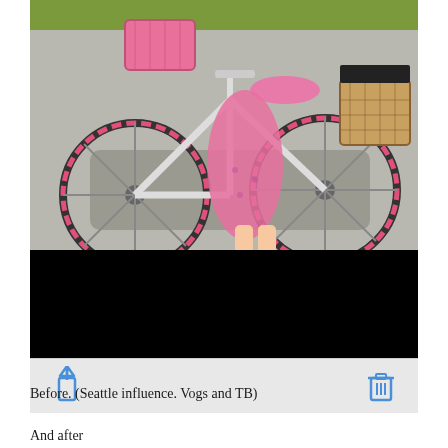[Figure (photo): A person wearing a pink dress and pink sandals standing next to a white bicycle with pink wheels, a pink basket on front handlebars, and a wicker basket on the rear. The photo is partially obscured by a black bar at the bottom. Below the photo is a toolbar with share and trash icons on a gray background.]
Before. (Seattle influence. Vogs and TB)
And after